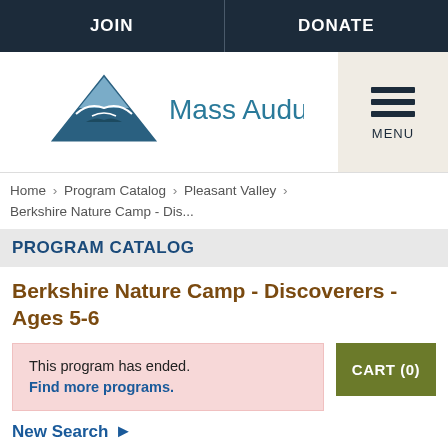JOIN  |  DONATE
[Figure (logo): Mass Audubon logo with stylized bird/mountain triangle icon in teal/blue and text 'Mass Audubon' in dark teal]
Home > Program Catalog > Pleasant Valley > Berkshire Nature Camp - Dis...
PROGRAM CATALOG
Berkshire Nature Camp - Discoverers - Ages 5-6
This program has ended.
Find more programs.
CART (0)
New Search ▶